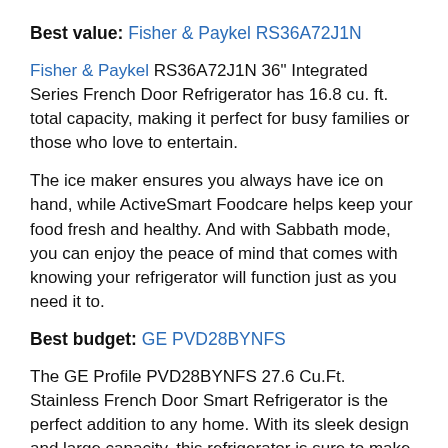Best value: Fisher & Paykel RS36A72J1N
Fisher & Paykel RS36A72J1N 36" Integrated Series French Door Refrigerator has 16.8 cu. ft. total capacity, making it perfect for busy families or those who love to entertain.
The ice maker ensures you always have ice on hand, while ActiveSmart Foodcare helps keep your food fresh and healthy. And with Sabbath mode, you can enjoy the peace of mind that comes with knowing your refrigerator will function just as you need it to.
Best budget: GE PVD28BYNFS
The GE Profile PVD28BYNFS 27.6 Cu.Ft. Stainless French Door Smart Refrigerator is the perfect addition to any home. With its sleek design and large capacity, this refrigerator is sure to make your life easier.